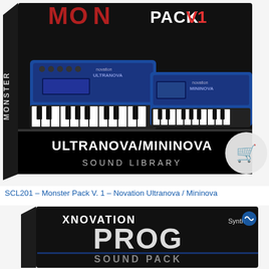[Figure (photo): Product box art for Monster Pack V1 - Novation Ultranova/Mininova Sound Library. Black box with blue synthesizer keyboards (UltraNova and MiniNova), text 'PACK V1', 'ULTRANOVA/MININOVA', 'SOUND LIBRARY'. Shopping cart icon on right side.]
SCL201 - Monster Pack V. 1 - Novation Ultranova / Mininova
[Figure (photo): Product box art for XNovation Prog Sound Pack. Black box with large white text 'XNOVATION', 'PROG', 'SOUND PACK'. Synth logo in top right corner.]